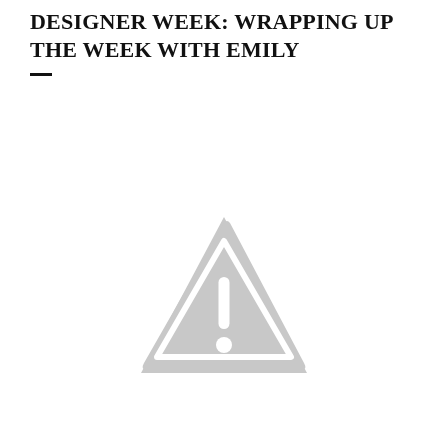DESIGNER WEEK: WRAPPING UP THE WEEK WITH EMILY
[Figure (other): Warning/unavailable image placeholder icon: a grey triangle with rounded corners containing a white exclamation mark, indicating a missing or broken image.]